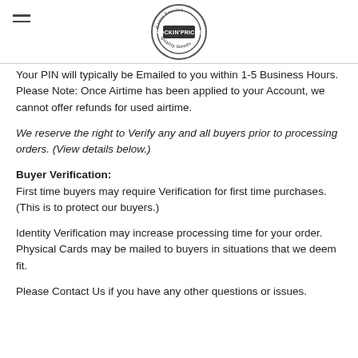Rockin Prices — Great Service, Quality Goods
Your PIN will typically be Emailed to you within 1-5 Business Hours. Please Note: Once Airtime has been applied to your Account, we cannot offer refunds for used airtime.
We reserve the right to Verify any and all buyers prior to processing orders. (View details below.)
Buyer Verification:
First time buyers may require Verification for first time purchases. (This is to protect our buyers.)
Identity Verification may increase processing time for your order. Physical Cards may be mailed to buyers in situations that we deem fit.
Please Contact Us if you have any other questions or issues.